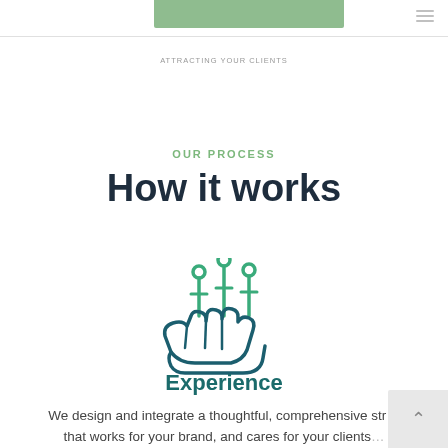[Figure (other): Green header button/bar and navigation menu icon at top of page]
ATTRACTING YOUR CLIENTS
OUR PROCESS
How it works
[Figure (illustration): Icon of an open hand holding circuit/technology nodes — teal/dark teal colored illustration representing Experience]
Experience
We design and integrate a thoughtful, comprehensive str... that works for your brand, and cares for your clients...